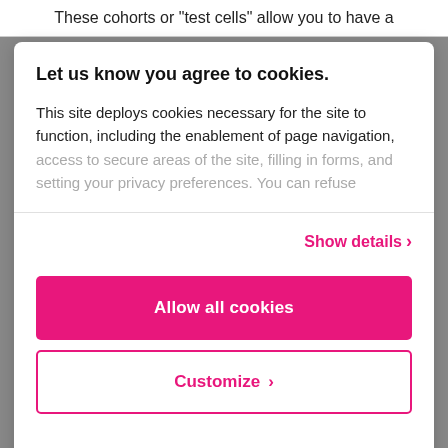These cohorts or "test cells" allow you to have a
Let us know you agree to cookies.
This site deploys cookies necessary for the site to function, including the enablement of page navigation, access to secure areas of the site, filling in forms, and setting your privacy preferences. You can refuse
Show details >
Allow all cookies
Customize >
Powered by Cookiebot by Usercentrics